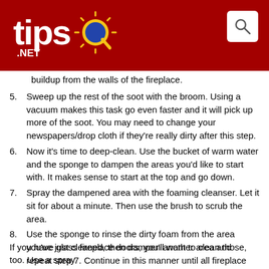[Figure (logo): Tips.net logo with sun graphic on dark red header background, with search icon in top right corner]
buildup from the walls of the fireplace.
5. Sweep up the rest of the soot with the broom. Using a vacuum makes this task go even faster and it will pick up more of the soot. You may need to change your newspapers/drop cloth if they're really dirty after this step.
6. Now it's time to deep-clean. Use the bucket of warm water and the sponge to dampen the areas you'd like to start with. It makes sense to start at the top and go down.
7. Spray the dampened area with the foaming cleanser. Let it sit for about a minute. Then use the brush to scrub the area.
8. Use the sponge to rinse the dirty foam from the area you've just cleaned, then dampen another area and repeat step 7. Continue in this manner until all fireplace walls are clean.
9. You can either let the walls air-dry or dry them with old rags. Replace the andirons and grate. Dispose of drop cloths or newspapers.
If you have glass fireplace doors, you'll want to clean those, too. Use a spray